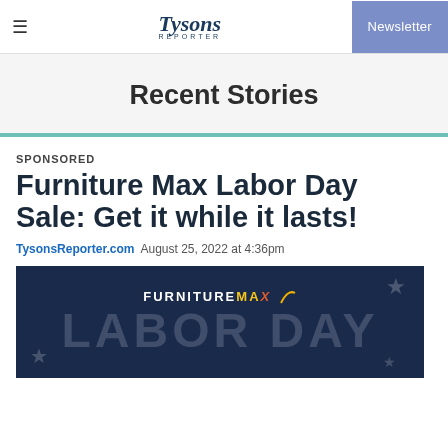Tysons Reporter | Newsletter
Recent Stories
SPONSORED
Furniture Max Labor Day Sale: Get it while it lasts!
TysonsReporter.com  August 25, 2022 at 4:36pm
[Figure (illustration): Furniture Max Labor Day Sale advertisement banner with dark navy background, large 'FURNITURE MAX' logo with yellow and orange styling, and 'LABOR DAY' text in large translucent letters with star decorations]